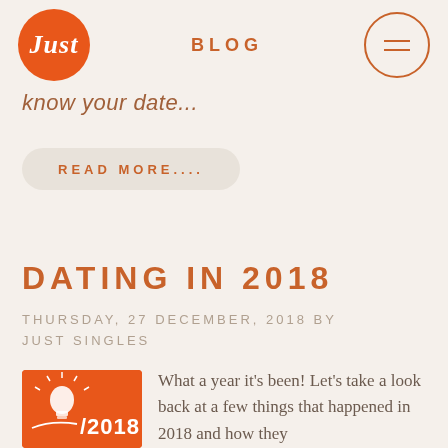BLOG
know your date...
READ MORE....
DATING IN 2018
THURSDAY, 27 DECEMBER, 2018 BY JUST SINGLES
[Figure (illustration): Orange square image with a lightbulb icon and '2018' text, representing 'Dating in 2018' blog post thumbnail]
What a year it's been! Let's take a look back at a few things that happened in 2018 and how they